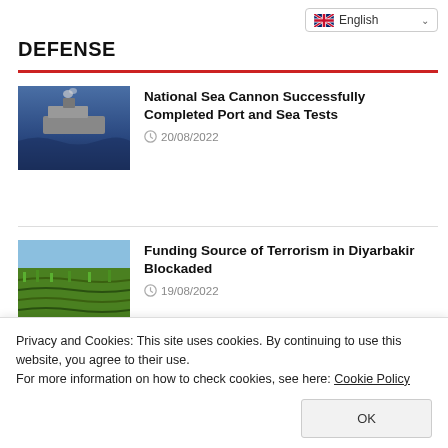English
DEFENSE
National Sea Cannon Successfully Completed Port and Sea Tests
20/08/2022
Funding Source of Terrorism in Diyarbakir Blockaded
19/08/2022
Malaysian King and Minister Akar Visited FNSS
Privacy and Cookies: This site uses cookies. By continuing to use this website, you agree to their use.
For more information on how to check cookies, see here: Cookie Policy
How to Get Instagram Followers?